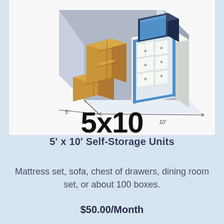[Figure (illustration): Isometric illustration of a 5x10 self-storage unit showing cardboard boxes stacked on the left, a chest of drawers with a TV on the right, and dimension markers showing 5' and 10' along the floor. Below the illustration is the large bold text '5x10'.]
5' x 10' Self-Storage Units
Mattress set, sofa, chest of drawers, dining room set, or about 100 boxes.
$50.00/Month